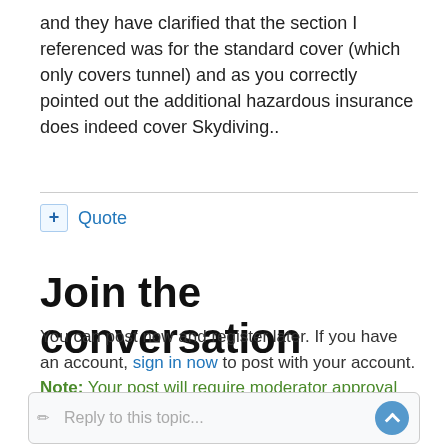and they have clarified that the section I referenced was for the standard cover (which only covers tunnel) and as you correctly pointed out the additional hazardous insurance does indeed cover Skydiving..
+ Quote
Join the conversation
You can post now and register later. If you have an account, sign in now to post with your account. Note: Your post will require moderator approval before it will be visible.
Reply to this topic...